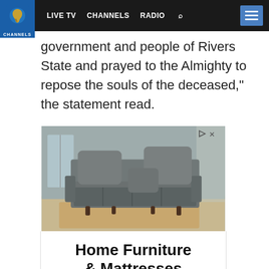CHANNELS | LIVE TV  CHANNELS  RADIO
government and people of Rivers State and prayed to the Almighty to repose the souls of the deceased,” the statement read.
[Figure (photo): Advertisement showing a gray tufted sofa/couch with pillows on a rug, with text overlay 'Home Furniture & Mattresses']